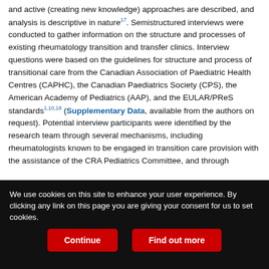and active (creating new knowledge) approaches are described, and analysis is descriptive in nature17. Semistructured interviews were conducted to gather information on the structure and processes of existing rheumatology transition and transfer clinics. Interview questions were based on the guidelines for structure and process of transitional care from the Canadian Association of Paediatric Health Centres (CAPHC), the Canadian Paediatrics Society (CPS), the American Academy of Pediatrics (AAP), and the EULAR/PReS standards1,10,18 (Supplementary Data, available from the authors on request). Potential interview participants were identified by the research team through several mechanisms, including rheumatologists known to be engaged in transition care provision with the assistance of the CRA Pediatrics Committee, and through
We use cookies on this site to enhance your user experience. By clicking any link on this page you are giving your consent for us to set cookies.